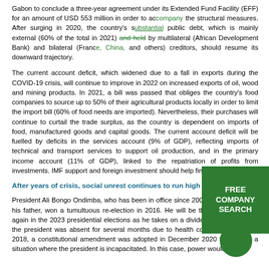Gabon to conclude a three-year agreement under its Extended Fund Facility (EFF) for an amount of USD 553 million in order to accompany the structural measures. After surging in 2020, the country's substantial public debt, which is mainly external (60% of the total in 2021) and held by multilateral (African Development Bank) and bilateral (France, China, and others) creditors, should resume its downward trajectory.
The current account deficit, which widened due to a fall in exports during the COVID-19 crisis, will continue to improve in 2022 on increased exports of oil, wood and mining products. In 2021, a bill was passed that obliges the country's food companies to source up to 50% of their agricultural products locally in order to limit the import bill (60% of food needs are imported). Nevertheless, their purchases will continue to curtail the trade surplus, as the country is dependent on imports of food, manufactured goods and capital goods. The current account deficit will be fuelled by deficits in the services account (9% of GDP), reflecting imports of technical and transport services to support oil production, and in the primary income account (11% of GDP), linked to the repatriation of profits from investments. IMF support and foreign investment should help finance the deficit.
After years of crisis, social unrest continues to run high
President Ali Bongo Ondimba, who has been in office since 2009 after succeeding his father, won a tumultuous re-election in 2016. He will be the favourite to win again in the 2023 presidential elections as he takes on a divided opposition. After the president was absent for several months due to health concerns in October 2018, a constitutional amendment was adopted in December 2020 to address a situation where the president is incapacitated. In this case, power would be